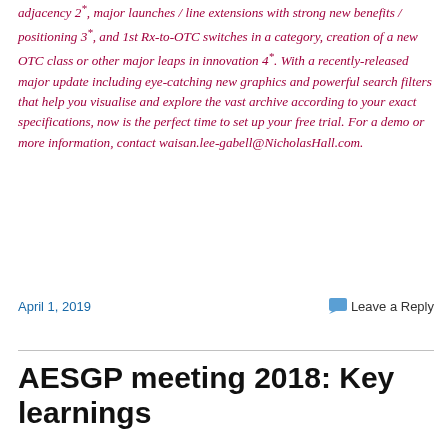adjacency 2*, major launches / line extensions with strong new benefits / positioning 3*, and 1st Rx-to-OTC switches in a category, creation of a new OTC class or other major leaps in innovation 4*. With a recently-released major update including eye-catching new graphics and powerful search filters that help you visualise and explore the vast archive according to your exact specifications, now is the perfect time to set up your free trial. For a demo or more information, contact waisan.lee-gabell@NicholasHall.com.
April 1, 2019
Leave a Reply
AESGP meeting 2018: Key learnings